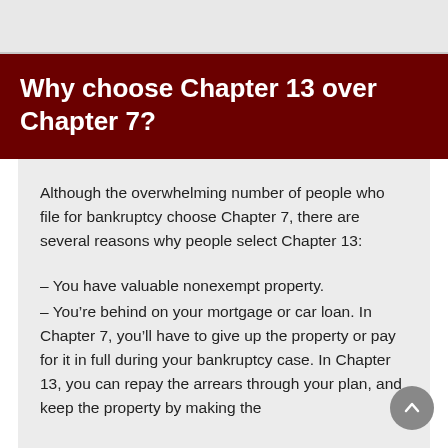Why choose Chapter 13 over Chapter 7?
Although the overwhelming number of people who file for bankruptcy choose Chapter 7, there are several reasons why people select Chapter 13:
– You have valuable nonexempt property.
– You're behind on your mortgage or car loan. In Chapter 7, you'll have to give up the property or pay for it in full during your bankruptcy case. In Chapter 13, you can repay the arrears through your plan, and keep the property by making the